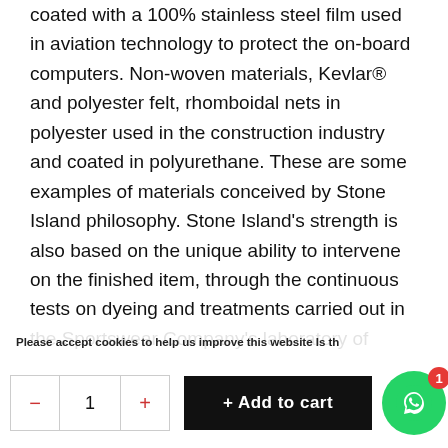coated with a 100% stainless steel film used in aviation technology to protect the on-board computers. Non-woven materials, Kevlar® and polyester felt, rhomboidal nets in polyester used in the construction industry and coated in polyurethane. These are some examples of materials conceived by Stone Island philosophy. Stone Island's strength is also based on the unique ability to intervene on the finished item, through the continuous tests on dyeing and treatments carried out in the Sportswear Company's laboratory of colour. A department able to combine advanced technology, experience and human capacity and that has developed more than 60,000 different recipes of dyes throughout the years. All the accumulated knowledge and experience, an inalienable heritage, on which are
Please accept cookies to help us improve this website Is th
- 1 + Add to cart